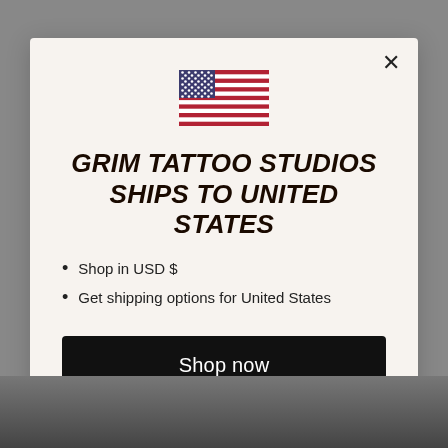[Figure (screenshot): Modal popup dialog over a tattoo studio website background. Contains a US flag SVG, bold italic title, bullet points, shop now button, and change shipping country link.]
GRIM TATTOO STUDIOS SHIPS TO UNITED STATES
Shop in USD $
Get shipping options for United States
Shop now
Change shipping country